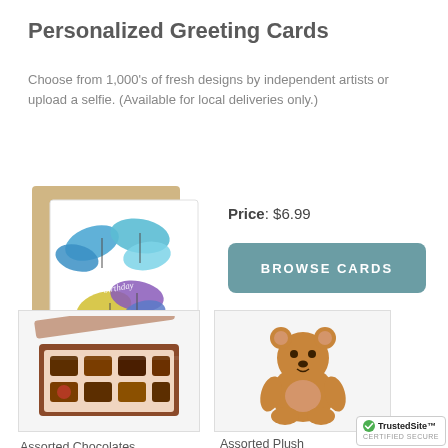Personalized Greeting Cards
Choose from 1,000's of fresh designs by independent artists or upload a selfie. (Available for local deliveries only.)
[Figure (photo): A greeting card with colorful butterflies and 'happy birthday' text, shown with a kraft envelope behind it]
Price: $6.99
BROWSE CARDS
[Figure (photo): A box of assorted chocolates open to show various chocolate pieces arranged in rows]
[Figure (photo): A small brown teddy bear plush toy sitting upright]
Assorted Chocolates
Assorted Plush (Plush May Var
[Figure (logo): TrustedSite certified secure badge]